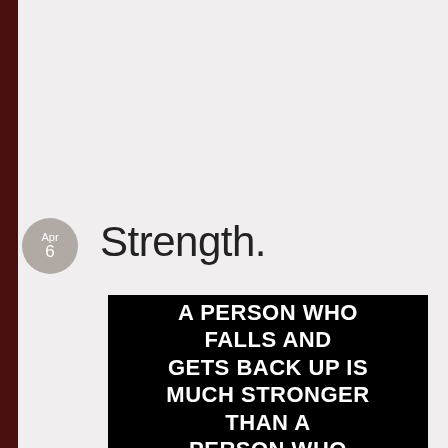Strength.
[Figure (illustration): Black background image with bold white uppercase text reading: A PERSON WHO FALLS AND GETS BACK UP IS MUCH STRONGER THAN A PERSON WHO NEVER FELL]